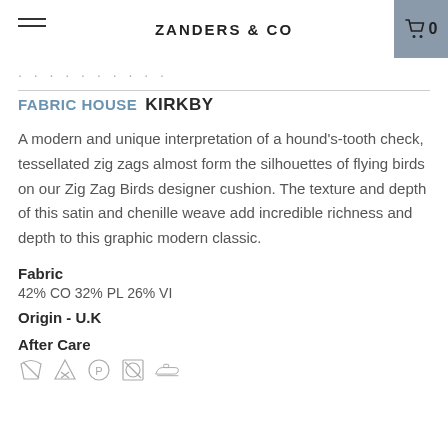ZANDERS & CO
FABRIC HOUSE  KIRKBY
A modern and unique interpretation of a hound's-tooth check, tessellated zig zags almost form the silhouettes of flying birds on our Zig Zag Birds designer cushion. The texture and depth of this satin and chenille weave add incredible richness and depth to this graphic modern classic.
Fabric
42% CO 32% PL 26% VI
Origin - U.K
After Care
[Figure (other): After care laundry symbols: do not wash, do not bleach, dry clean, do not tumble dry, iron low]